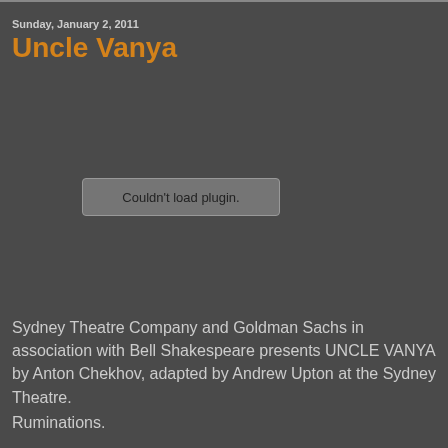Sunday, January 2, 2011
Uncle Vanya
[Figure (screenshot): A browser plugin error placeholder box reading 'Couldn't load plugin.']
Sydney Theatre Company and Goldman Sachs in association with Bell Shakespeare presents UNCLE VANYA by Anton Chekhov, adapted by Andrew Upton at the Sydney Theatre.
Ruminations.